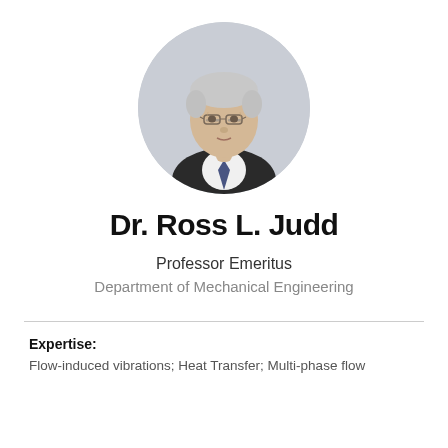[Figure (photo): Circular headshot photo of an elderly man with gray hair and glasses, wearing a dark suit and tie, against a light gray background.]
Dr. Ross L. Judd
Professor Emeritus
Department of Mechanical Engineering
Expertise: Flow-induced vibrations; Heat Transfer; Multi-phase flow